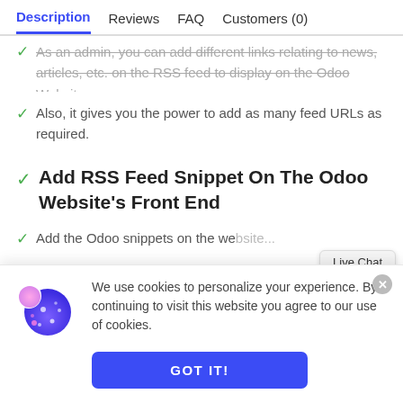Description  Reviews  FAQ  Customers (0)
As an admin, you can add different links relating to news, articles, etc. on the RSS feed to display on the Odoo Website.
Also, it gives you the power to add as many feed URLs as required.
Add RSS Feed Snippet On The Odoo Website's Front End
Add the Odoo snippets on the website...
We use cookies to personalize your experience. By continuing to visit this website you agree to our use of cookies.